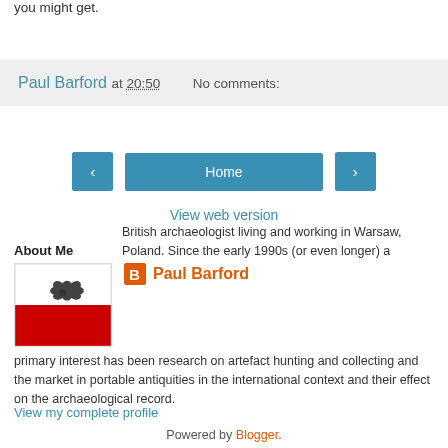you might get.
Paul Barford at 20:50    No comments:
‹   Home   ›
View web version
About Me
Paul Barford
British archaeologist living and working in Warsaw, Poland. Since the early 1990s (or even longer) a primary interest has been research on artefact hunting and collecting and the market in portable antiquities in the international context and their effect on the archaeological record.
View my complete profile
Powered by Blogger.